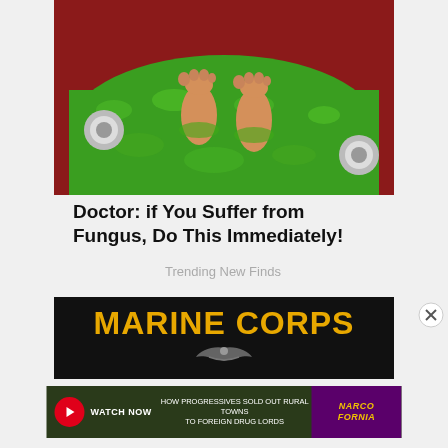[Figure (photo): Person's bare feet standing in a red foot bath/spa filled with green foamy water, viewed from above]
Doctor: if You Suffer from Fungus, Do This Immediately!
Trending New Finds
[Figure (photo): Marine Corps advertisement with yellow bold text on black background reading MARINE CORPS with eagle emblem]
[Figure (photo): Narcofornia ad: HOW PROGRESSIVES SOLD OUT RURAL TOWNS TO FOREIGN DRUG LORDS, with WATCH NOW button and Narcofornia logo]